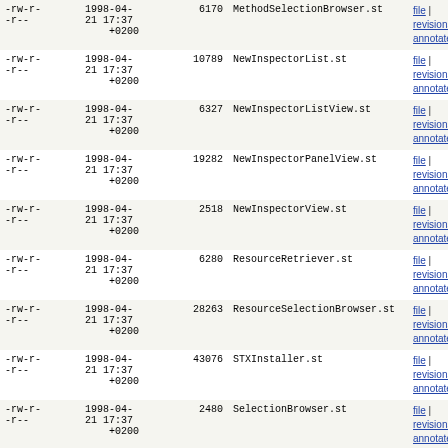| permissions | date | size | filename | links |
| --- | --- | --- | --- | --- |
| -rw-r--r-- | 1998-04-21 17:37 +0200 | 6170 | MethodSelectionBrowser.st | file | revisions | annotate |
| -rw-r--r-- | 1998-04-21 17:37 +0200 | 10789 | NewInspectorList.st | file | revisions | annotate |
| -rw-r--r-- | 1998-04-21 17:37 +0200 | 6327 | NewInspectorListView.st | file | revisions | annotate |
| -rw-r--r-- | 1998-04-21 17:37 +0200 | 19282 | NewInspectorPanelView.st | file | revisions | annotate |
| -rw-r--r-- | 1998-04-21 17:37 +0200 | 2518 | NewInspectorView.st | file | revisions | annotate |
| -rw-r--r-- | 1998-04-21 17:37 +0200 | 6280 | ResourceRetriever.st | file | revisions | annotate |
| -rw-r--r-- | 1998-04-21 17:37 +0200 | 28263 | ResourceSelectionBrowser.st | file | revisions | annotate |
| -rw-r--r-- | 1998-04-21 17:37 +0200 | 43076 | STXInstaller.st | file | revisions | annotate |
| -rw-r--r-- | 1998-04-21 17:37 +0200 | 2480 | SelectionBrowser.st | file | revisions | annotate |
| -rw-r--r-- | 1998-04-21 17:37 +0200 | 13577 | ShellView.st | file | revisions | annotate |